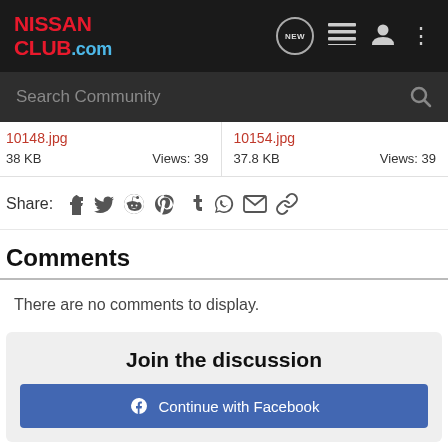NISSAN CLUB.com
10148.jpg 38 KB Views: 39 | 10154.jpg 37.8 KB Views: 39
Share: (social icons: Facebook, Twitter, Reddit, Pinterest, Tumblr, WhatsApp, Email, Link)
Comments
There are no comments to display.
Join the discussion
Continue with Facebook